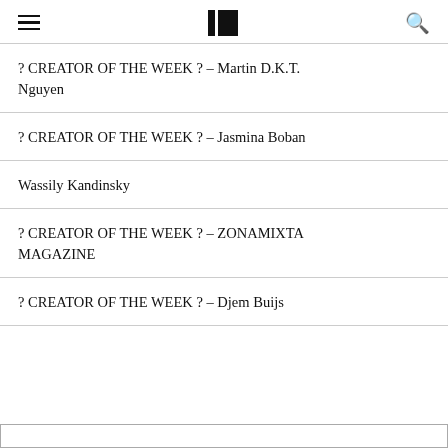≡  [logo]  🔍
? CREATOR OF THE WEEK ? – Martin D.K.T. Nguyen
? CREATOR OF THE WEEK ? – Jasmina Boban
Wassily Kandinsky
? CREATOR OF THE WEEK ? – ZONAMIXTA MAGAZINE
? CREATOR OF THE WEEK ? – Djem Buijs